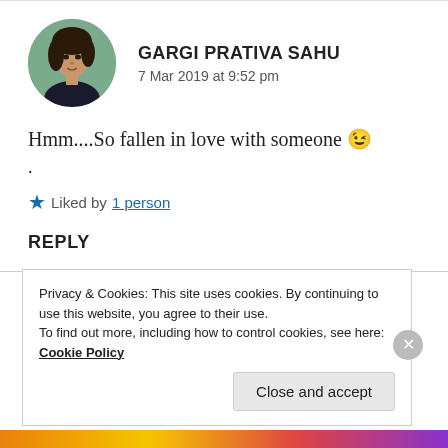[Figure (photo): Circular avatar photo of a young woman, profile picture of Gargi Prativa Sahu]
GARGI PRATIVA SAHU
7 Mar 2019 at 9:52 pm
Hmm....So fallen in love with someone 😉
.
Liked by 1 person
REPLY
Privacy & Cookies: This site uses cookies. By continuing to use this website, you agree to their use.
To find out more, including how to control cookies, see here: Cookie Policy
Close and accept